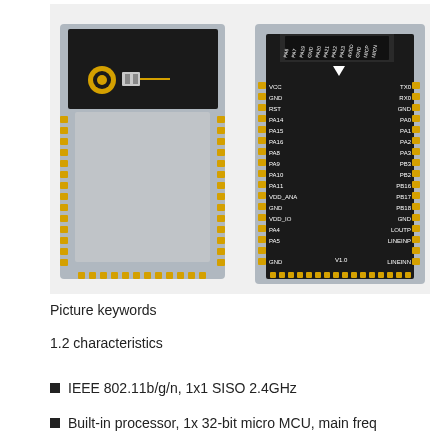[Figure (engineering-diagram): Front and back views of a WiFi module PCB. Left side shows the front with an antenna connector, components, and castellated edge pads around three sides. Right side shows the back/pinout diagram of the module with labeled pins: top header pins (PA6, PA7, PA19, GND, PA20, PA21, PA22, PA23, AVDD, GND, MICP, MICN), left side pins (VCC, GND, RST, PA14, PA15, PA16, PA8, PA9, PA10, PA11, VDD_ANA, GND, VDD_IO, PA4, PA5, GND), right side pins (TX0, RX0, GND, PA0, PA1, PA2, PA3, PB3, PB2, PB16, PB17, PB18, GND, LOUTP, LINEINP, LINEINN), and a downward triangle indicator at the top. Version label V1.0 shown at bottom.]
Picture keywords
1.2 characteristics
IEEE 802.11b/g/n, 1x1 SISO 2.4GHz
Built-in processor, 1x 32-bit micro MCU, main freq...